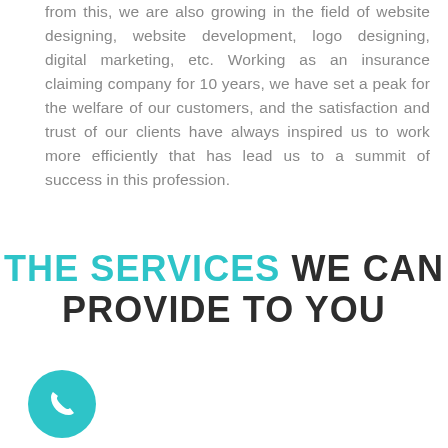from this, we are also growing in the field of website designing, website development, logo designing, digital marketing, etc. Working as an insurance claiming company for 10 years, we have set a peak for the welfare of our customers, and the satisfaction and trust of our clients have always inspired us to work more efficiently that has lead us to a summit of success in this profession.
THE SERVICES WE CAN PROVIDE TO YOU
[Figure (illustration): Teal circular button with a white phone handset icon]